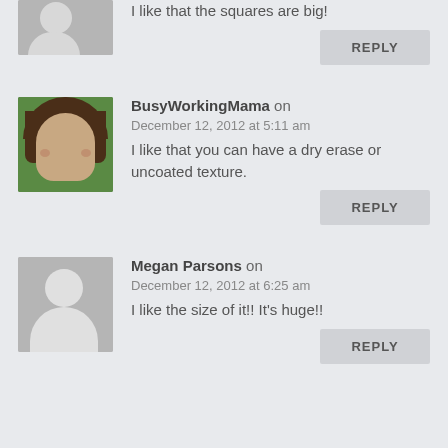I like that the squares are big!
REPLY
BusyWorkingMama on December 12, 2012 at 5:11 am
I like that you can have a dry erase or uncoated texture.
REPLY
Megan Parsons on December 12, 2012 at 6:25 am
I like the size of it!! It's huge!!
REPLY